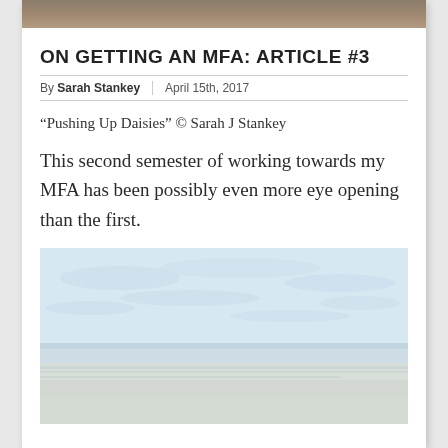[Figure (photo): Decorative tan/brown header image bar at top of article card]
ON GETTING AN MFA: ARTICLE #3
By Sarah Stankey | April 15th, 2017
“Pushing Up Daisies” © Sarah J Stankey
This second semester of working towards my MFA has been possibly even more eye opening than the first.
[Figure (photo): Minimalist seascape photograph with pale blue sky, soft clouds, and a calm sandy beach with gentle wave wash in light, airy tones]